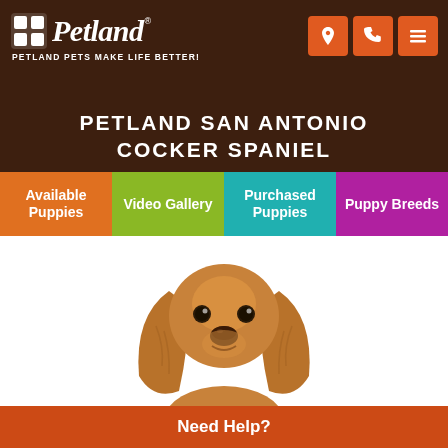Petland — Petland Pets Make Life Better!
PETLAND SAN ANTONIO COCKER SPANIEL
Available Puppies
Video Gallery
Purchased Puppies
Puppy Breeds
[Figure (photo): Golden/reddish Cocker Spaniel puppy with long floppy ears, facing camera, on white background]
Need Help?